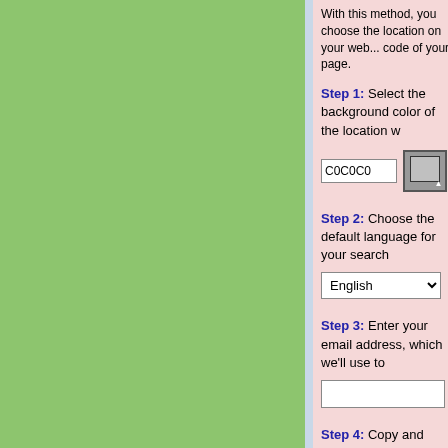With this method, you choose the location on your web... code of your page.
Step 1: Select the background color of the location w...
C0C0C0 [color picker]
Step 2: Choose the default language for your search...
English [dropdown]
Step 3: Enter your email address, which we'll use to...
[email input field]
Step 4: Copy and paste the following HTML code int... search bar to appear. Be careful not to change the cod... affiliate program.
<!-- START OF AFFILIATE PROGRAM CODE -->
<div align="center" style="width:168px; height:270px; margi...
<iframe frameborder="0" scrolling="no" src="https://www.ins...
=%23C0C0C0&amp;l=en" style="height:250px; width:166p...
<a href="https://www.instantworldbooking.com" target="_bla...
ers in the world - Instant World Booking" style="font-family:...
rtical-align:top;">Instant World Booking</a> &nbsp; <a hre...